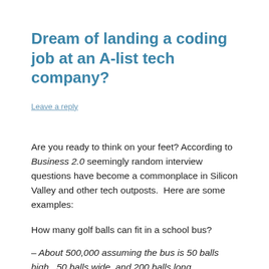Dream of landing a coding job at an A-list tech company?
Leave a reply
Are you ready to think on your feet? According to Business 2.0 seemingly random interview questions have become a commonplace in Silicon Valley and other tech outposts.  Here are some examples:
How many golf balls can fit in a school bus?
– About 500,000 assuming the bus is 50 balls high , 50 balls wide, and 200 balls long.
How much should you charge to wash all the windows in